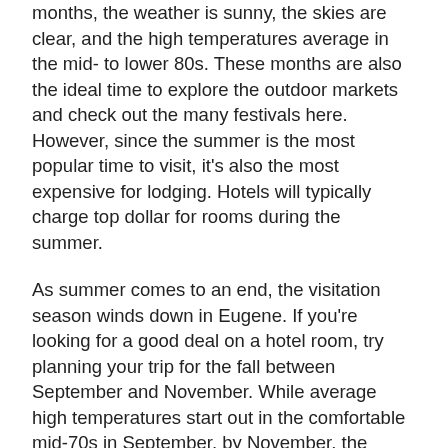months, the weather is sunny, the skies are clear, and the high temperatures average in the mid- to lower 80s. These months are also the ideal time to explore the outdoor markets and check out the many festivals here. However, since the summer is the most popular time to visit, it's also the most expensive for lodging. Hotels will typically charge top dollar for rooms during the summer.
As summer comes to an end, the visitation season winds down in Eugene. If you're looking for a good deal on a hotel room, try planning your trip for the fall between September and November. While average high temperatures start out in the comfortable mid-70s in September, by November, the highs drop into the low 50s. Rainfall does increase during these months, and the area sometimes sees long stretches of damp, cloudy days.
Snowfall in the winter months is generally light in Eugene, and rain isn't uncommon. However, if you're a winter sports enthusiast, this weather shouldn't deter you from visiting between December and February. The mountains outside of the city receive plenty of snow during the winter, and the